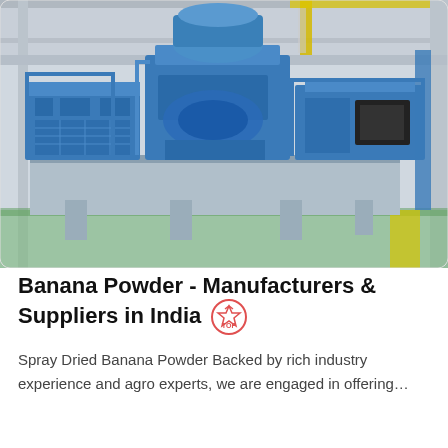[Figure (photo): Large blue industrial crushing/milling machines on a factory floor with overhead cranes and steel structure ceiling. Green floor visible in foreground.]
Banana Powder - Manufacturers & Suppliers in India
Spray Dried Banana Powder Backed by rich industry experience and agro experts, we are engaged in offering…